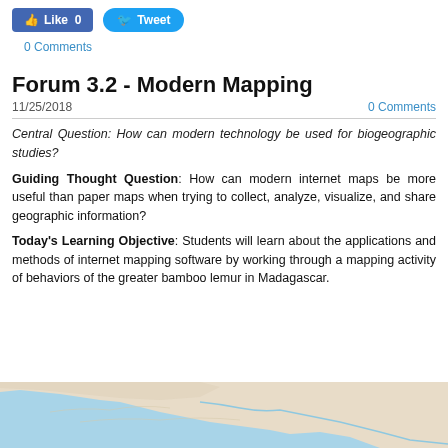Like 0   Tweet
0 Comments
Forum 3.2 - Modern Mapping
11/25/2018    0 Comments
Central Question: How can modern technology be used for biogeographic studies?
Guiding Thought Question: How can modern internet maps be more useful than paper maps when trying to collect, analyze, visualize, and share geographic information?
Today's Learning Objective: Students will learn about the applications and methods of internet mapping software by working through a mapping activity of behaviors of the greater bamboo lemur in Madagascar.
[Figure (map): Partial world map showing North America and surrounding ocean areas in a light beige and blue color scheme.]